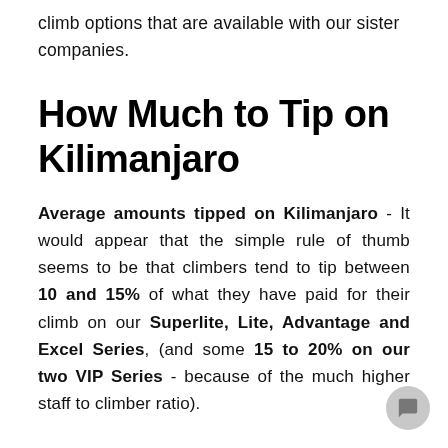climb options that are available with our sister companies.
How Much to Tip on Kilimanjaro
Average amounts tipped on Kilimanjaro - It would appear that the simple rule of thumb seems to be that climbers tend to tip between 10 and 15% of what they have paid for their climb on our Superlite, Lite, Advantage and Excel Series, (and some 15 to 20% on our two VIP Series - because of the much higher staff to climber ratio).
...